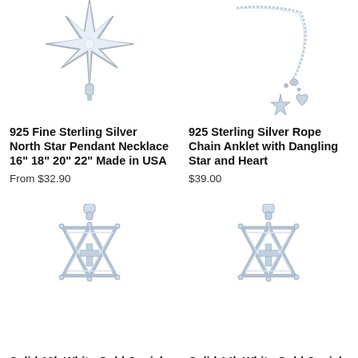[Figure (photo): 925 Fine Sterling Silver North Star Pendant Necklace - silver star shape visible at top]
925 Fine Sterling Silver North Star Pendant Necklace 16" 18" 20" 22" Made in USA
From $32.90
[Figure (photo): 925 Sterling Silver Rope Chain Anklet with Dangling Star and Heart - chain with dangling star and heart visible]
925 Sterling Silver Rope Chain Anklet with Dangling Star and Heart
$39.00
[Figure (photo): Solid 10k White Gold Jewish Star of David with cross pendant]
Solid 10k White Gold Jewish
[Figure (photo): Solid 14k White Gold Jewish Star of David with cross pendant]
Solid 14k White Gold Jewish